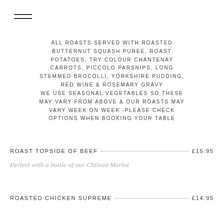ALL ROASTS SERVED WITH ROASTED BUTTERNUT SQUASH PUREE, ROAST POTATOES, TRY COLOUR CHANTENAY CARROTS, PICCOLO PARSNIPS, LONG STEMMED BROCOLLI, YORKSHIRE PUDDING, RED WINE & ROSEMARY GRAVY WE USE SEASONAL VEGETABLES SO THESE MAY VARY FROM ABOVE & OUR ROASTS MAY VARY WEEK ON WEEK -PLEASE CHECK OPTIONS WHEN BOOKING YOUR TABLE
ROAST TOPSIDE OF BEEF · · · · · · · · · · · · £15.95
Perfect with a bottle of our Chilean Merlot
ROASTED CHICKEN SUPREME · · · · · · · · · · £14.95